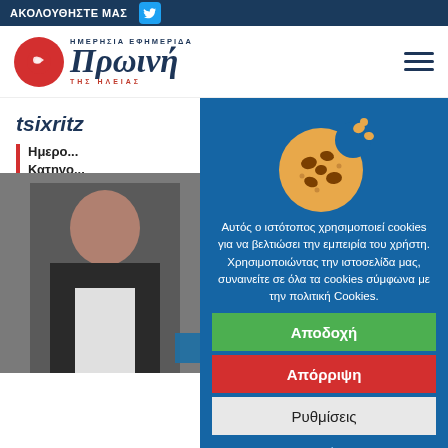ΑΚΟΛΟΥΘΗΣΤΕ ΜΑΣ [Twitter icon]
[Figure (logo): Πρωινή της Ηλείας newspaper logo with red circle icon and Greek text]
tsixritz
Ημερο... | Κατηγο...
[Figure (photo): Man in dark suit seated, partial view]
Αυτός ο ιστότοπος χρησιμοποιεί cookies για να βελτιώσει την εμπειρία του χρήστη. Χρησιμοποιώντας την ιστοσελίδα μας, συναινείτε σε όλα τα cookies σύμφωνα με την πολιτική Cookies.
Αποδοχή
Απόρριψη
Ρυθμίσεις
Περισσότερα